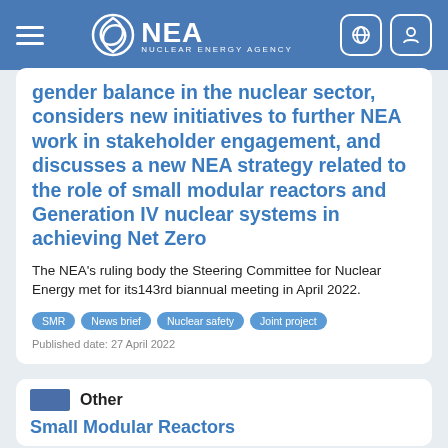NEA – Nuclear Energy Agency
gender balance in the nuclear sector, considers new initiatives to further NEA work in stakeholder engagement, and discusses a new NEA strategy related to the role of small modular reactors and Generation IV nuclear systems in achieving Net Zero
The NEA's ruling body the Steering Committee for Nuclear Energy met for its143rd biannual meeting in April 2022.
SMR
News brief
Nuclear safety
Joint project
Published date: 27 April 2022
Other
Small Modular Reactors